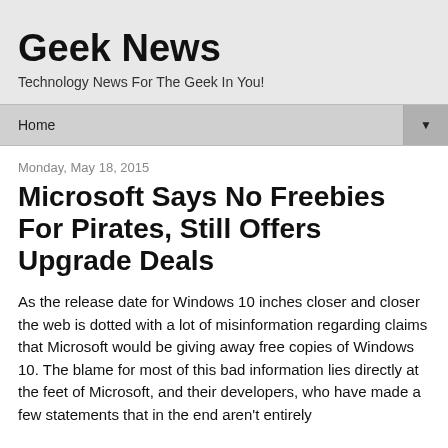Geek News
Technology News For The Geek In You!
Home
Monday, May 18, 2015
Microsoft Says No Freebies For Pirates, Still Offers Upgrade Deals
As the release date for Windows 10 inches closer and closer the web is dotted with a lot of misinformation regarding claims that Microsoft would be giving away free copies of Windows 10. The blame for most of this bad information lies directly at the feet of Microsoft, and their developers, who have made a few statements that in the end aren't entirely